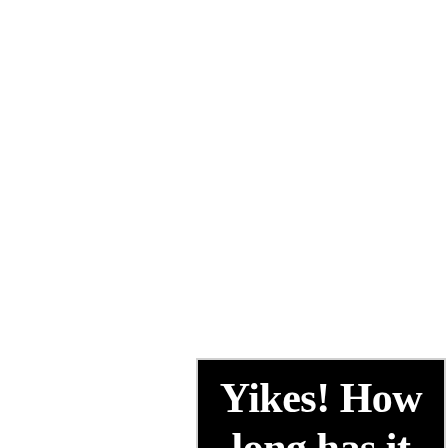[Figure (other): Black card/image with bold white serif text reading: 'Yikes! How long has it been since I actually looked at my eyebrows?' — text is partially cut off at bottom]